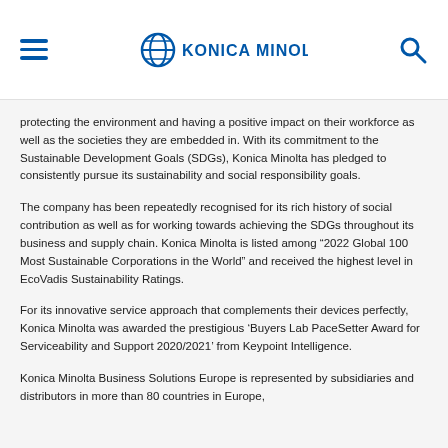KONICA MINOLTA
protecting the environment and having a positive impact on their workforce as well as the societies they are embedded in. With its commitment to the Sustainable Development Goals (SDGs), Konica Minolta has pledged to consistently pursue its sustainability and social responsibility goals.
The company has been repeatedly recognised for its rich history of social contribution as well as for working towards achieving the SDGs throughout its business and supply chain. Konica Minolta is listed among “2022 Global 100 Most Sustainable Corporations in the World” and received the highest level in EcoVadis Sustainability Ratings.
For its innovative service approach that complements their devices perfectly, Konica Minolta was awarded the prestigious ‘Buyers Lab PaceSetter Award for Serviceability and Support 2020/2021’ from Keypoint Intelligence.
Konica Minolta Business Solutions Europe is represented by subsidiaries and distributors in more than 80 countries in Europe,